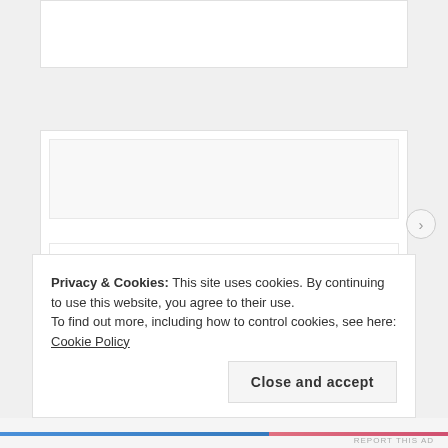[Figure (screenshot): Partially visible card at top of page, no text visible]
Dr. Katherine Hennessy
Sheikh Nahyan bin Mubarak
Privacy & Cookies: This site uses cookies. By continuing to use this website, you agree to their use.
To find out more, including how to control cookies, see here: Cookie Policy
Close and accept